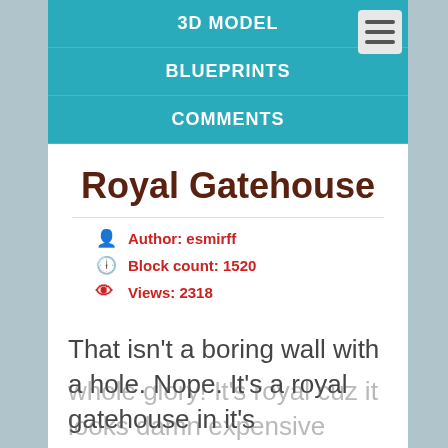3D MODEL
BLUEPRINTS
COMMENTS
Royal Gatehouse
Author: esmirff
Block count: 1520
Views: 2318
That isn't a boring wall with a hole. Nope. It's a royal gatehouse in it's whole glory! It's royal cuz it looks damn expensive